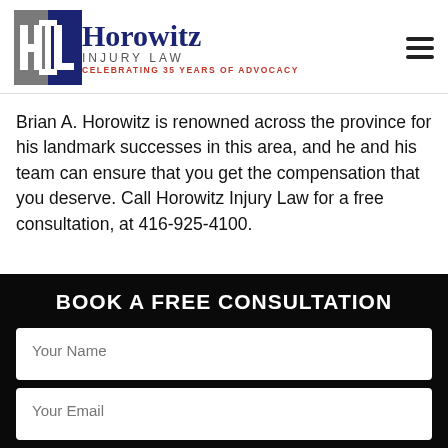[Figure (logo): Horowitz Injury Law logo with HL shield emblem, firm name, and tagline 'Celebrating 35 Years of Advocacy']
Brian A. Horowitz is renowned across the province for his landmark successes in this area, and he and his team can ensure that you get the compensation that you deserve. Call Horowitz Injury Law for a free consultation, at 416-925-4100.
BOOK A FREE CONSULTATION
Your Name
Your Email